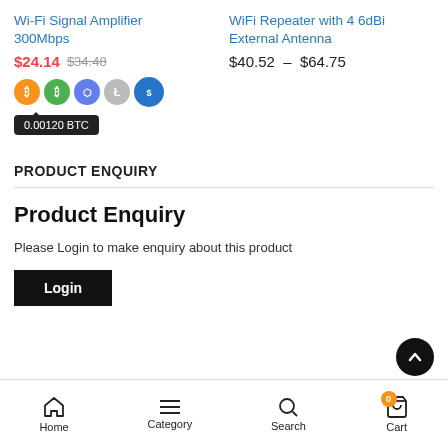Wi-Fi Signal Amplifier 300Mbps
$24.14  $34.48
[Figure (infographic): Five cryptocurrency icon circles (Bitcoin orange, Bitcoin green, Ethereum purple, Litecoin grey, USDC blue) with tooltip showing 0.00120 BTC]
WiFi Repeater with 4 6dBi External Antenna
$40.52 – $64.75
PRODUCT ENQUIRY
Product Enquiry
Please Login to make enquiry about this product
Login
Home  Category  Search  Cart